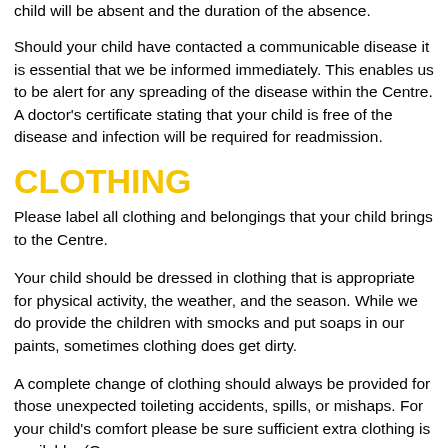child will be absent and the duration of the absence.
Should your child have contacted a communicable disease it is essential that we be informed immediately. This enables us to be alert for any spreading of the disease within the Centre. A doctor's certificate stating that your child is free of the disease and infection will be required for readmission.
CLOTHING
Please label all clothing and belongings that your child brings to the Centre.
Your child should be dressed in clothing that is appropriate for physical activity, the weather, and the season. While we do provide the children with smocks and put soaps in our paints, sometimes clothing does get dirty.
A complete change of clothing should always be provided for those unexpected toileting accidents, spills, or mishaps. For your child's comfort please be sure sufficient extra clothing is available. (One or